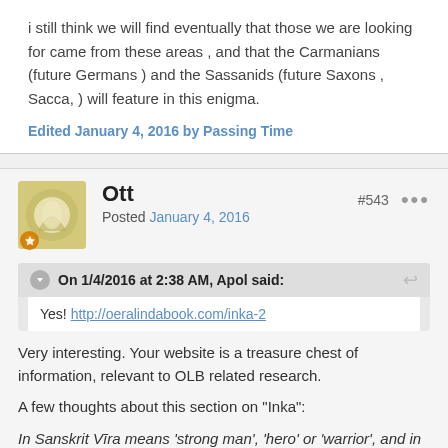i still think we will find eventually that those we are looking for came from these areas , and that the Carmanians (future Germans ) and the Sassanids (future Saxons , Sacca, ) will feature in this enigma.
Edited January 4, 2016 by Passing Time
Ott
Posted January 4, 2016
#543
On 1/4/2016 at 2:38 AM, Apol said:
Yes! http://oeralindabook.com/inka-2
Very interesting. Your website is a treasure chest of information, relevant to OLB related research.
A few thoughts about this section on "Inka":
In Sanskrit Vīra means 'strong man', 'hero' or 'warrior', and in Latin it